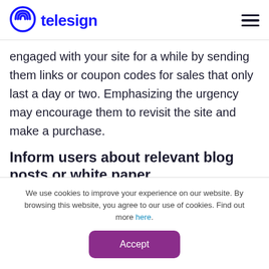telesign
engaged with your site for a while by sending them links or coupon codes for sales that only last a day or two. Emphasizing the urgency may encourage them to revisit the site and make a purchase.
Inform users about relevant blog posts or white paper
We use cookies to improve your experience on our website. By browsing this website, you agree to our use of cookies. Find out more here.